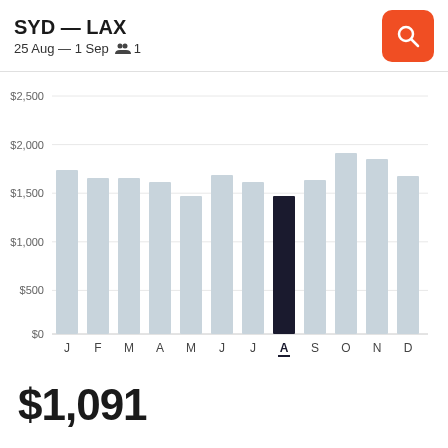SYD — LAX
25 Aug — 1 Sep   👥 1
[Figure (bar-chart): SYD — LAX flight prices by month]
$1,091